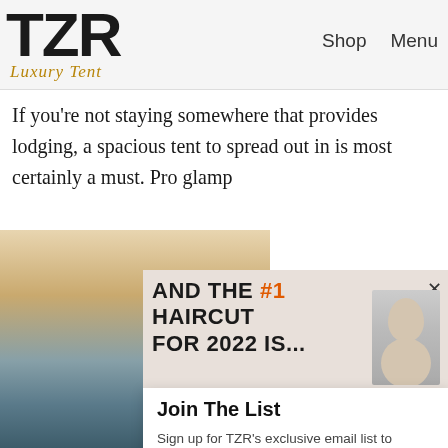TZR
Luxury Tent
Shop   Menu
If you're not staying somewhere that provides lodging, a spacious tent to spread out in is most certainly a must. Pro glamp
AND THE #1 HAIRCUT FOR 2022 IS...
[Figure (photo): Portrait of a blonde woman photographed in black and white]
[Figure (photo): Outdoor landscape with sky, water, and coastal scenery]
Join The List
Sign up for TZR's exclusive email list to uncover this season's top trends
Email address   Subscribe